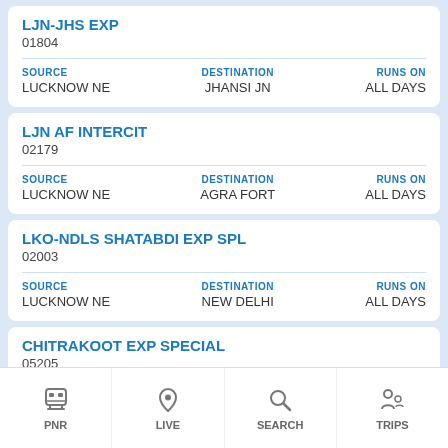LJN-JHS EXP
01804
| SOURCE | DESTINATION | RUNS ON |
| --- | --- | --- |
| LUCKNOW NE | JHANSI JN | ALL DAYS |
LJN AF INTERCIT
02179
| SOURCE | DESTINATION | RUNS ON |
| --- | --- | --- |
| LUCKNOW NE | AGRA FORT | ALL DAYS |
LKO-NDLS SHATABDI EXP SPL
02003
| SOURCE | DESTINATION | RUNS ON |
| --- | --- | --- |
| LUCKNOW NE | NEW DELHI | ALL DAYS |
CHITRAKOOT EXP SPECIAL
05205
| SOURCE | DESTINATION | RUNS ON |
| --- | --- | --- |
| LUCKNOW NE | JABALPUR | ALL DAYS |
PNR | LIVE | SEARCH | TRIPS